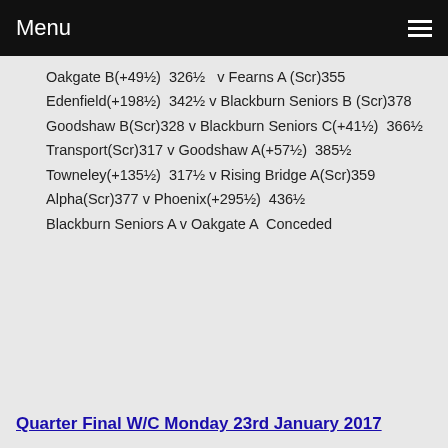Menu
Oakgate B(+49½)  326½   v Fearns A (Scr)355
Edenfield(+198½)  342½ v Blackburn Seniors B (Scr)378
Goodshaw B(Scr)328 v Blackburn Seniors C(+41½)  366½
Transport(Scr)317 v Goodshaw A(+57½)  385½
Towneley(+135½)  317½ v Rising Bridge A(Scr)359
Alpha(Scr)377 v Phoenix(+295½)  436½
Blackburn Seniors A v Oakgate A  Conceded
Quarter Final W/C Monday 23rd January 2017